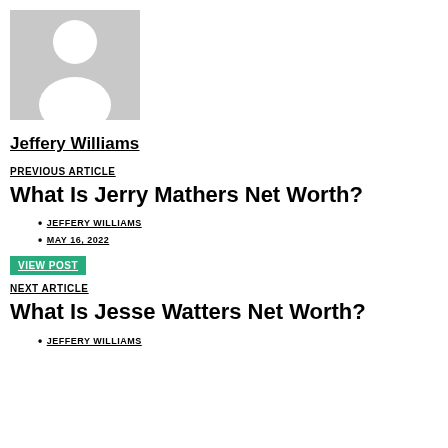[Figure (illustration): Gray placeholder avatar image with a white silhouette of a person (head and shoulders)]
Jeffery Williams
PREVIOUS ARTICLE
What Is Jerry Mathers Net Worth?
JEFFERY WILLIAMS
MAY 16, 2022
VIEW POST
NEXT ARTICLE
What Is Jesse Watters Net Worth?
JEFFERY WILLIAMS